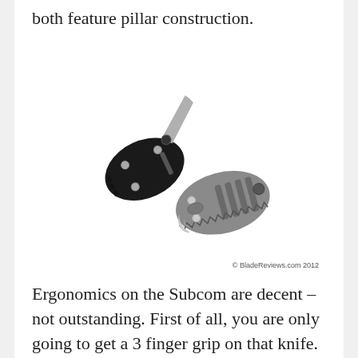both feature pillar construction.
[Figure (photo): Two small folding knives side by side: one with black handle (top-left) and one with gray/titanium handle (bottom-right), both shown closed. Copyright BladeReviews.com 2012.]
© BladeReviews.com 2012
Ergonomics on the Subcom are decent – not outstanding. First of all, you are only going to get a 3 finger grip on that knife. Given the size, that is fine and the Subcom actually fills the hand pretty well given how wide the